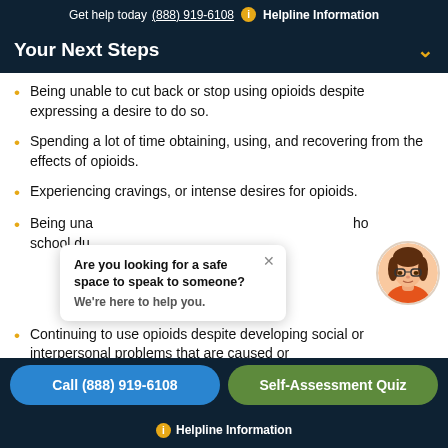Get help today (888) 919-6108  i  Helpline Information
Your Next Steps
Being unable to cut back or stop using opioids despite expressing a desire to do so.
Spending a lot of time obtaining, using, and recovering from the effects of opioids.
Experiencing cravings, or intense desires for opioids.
Being una... k, ho school du...
[Figure (illustration): Chat popup with text: Are you looking for a safe space to speak to someone? We're here to help you. A close button (X) and a cartoon avatar of a woman with glasses.]
Continuing to use opioids despite developing social or interpersonal problems that are caused or
Call (888) 919-6108   Self-Assessment Quiz   i  Helpline Information